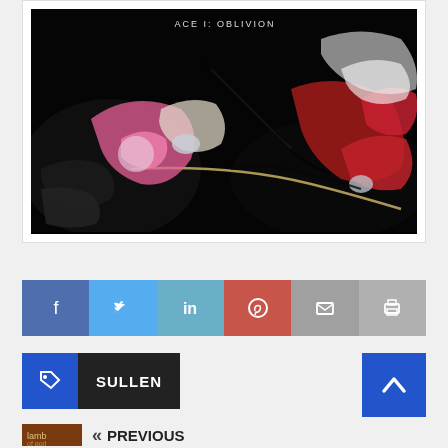[Figure (illustration): Abstract marble/fluid art album cover with swirling black, red, pink, white and gold colors. Text at top reads 'ACE I: OBLIVION'.]
[Figure (infographic): Social share button bar with Facebook (blue), Twitter (light blue), LinkedIn (teal), Pinterest (red), Email (gray), Print (gray) icons]
SULLEN
[Figure (infographic): Back to top arrow button (blue square with upward chevron)]
« PREVIOUS